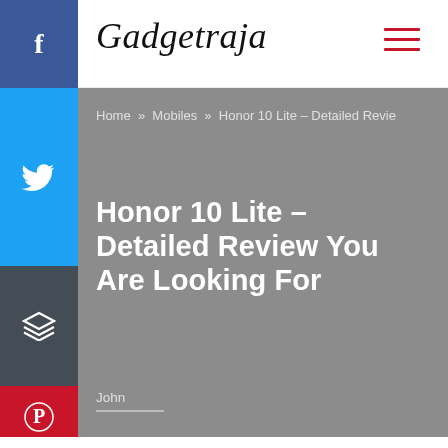Gadgetraja
Home » Mobiles » Honor 10 Lite – Detailed Revie
Honor 10 Lite – Detailed Review You Are Looking For
John